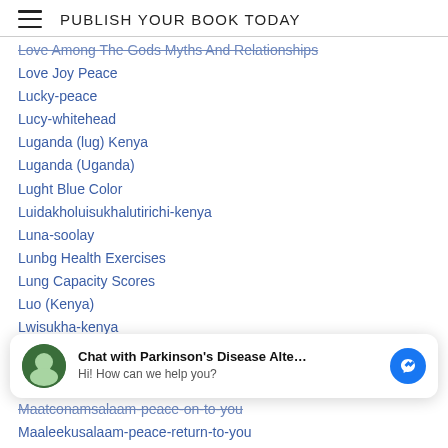PUBLISH YOUR BOOK TODAY
Love Among The Gods Myths And Relationships
Love Joy Peace
Lucky-peace
Lucy-whitehead
Luganda (lug) Kenya
Luganda (Uganda)
Lught Blue Color
Luidakholuisukhalutirichi-kenya
Luna-soolay
Lunbg Health Exercises
Lung Capacity Scores
Luo (Kenya)
Lwisukha-kenya
Lydia-corteacutes
[Figure (other): Chat widget: avatar icon for Parkinson's Disease Alte..., text 'Chat with Parkinson's Disease Alte...' and 'Hi! How can we help you?', with a blue Messenger icon]
Maatconamsalaam-peace-on-to-you
Maaleekusalaam-peace-return-to-you